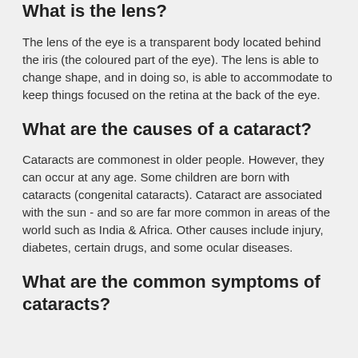What is the lens?
The lens of the eye is a transparent body located behind the iris (the coloured part of the eye). The lens is able to change shape, and in doing so, is able to accommodate to keep things focused on the retina at the back of the eye.
What are the causes of a cataract?
Cataracts are commonest in older people. However, they can occur at any age. Some children are born with cataracts (congenital cataracts). Cataract are associated with the sun - and so are far more common in areas of the world such as India & Africa. Other causes include injury, diabetes, certain drugs, and some ocular diseases.
What are the common symptoms of cataracts?